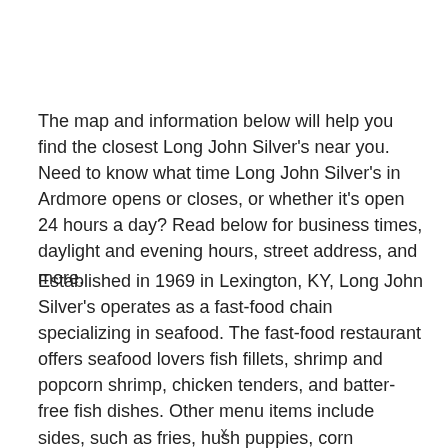The map and information below will help you find the closest Long John Silver's near you. Need to know what time Long John Silver's in Ardmore opens or closes, or whether it's open 24 hours a day? Read below for business times, daylight and evening hours, street address, and more.
Established in 1969 in Lexington, KY, Long John Silver's operates as a fast-food chain specializing in seafood. The fast-food restaurant offers seafood lovers fish fillets, shrimp and popcorn shrimp, chicken tenders, and batter-free fish dishes. Other menu items include sides, such as fries, hush puppies, corn cobbettes, desserts, and kid's meals. Today, Long John Silver's maintains over 1,200 locations worldwide with LJS partners LLC operating as sole proprietor. Headquarters reside in Louisville, KY.
x